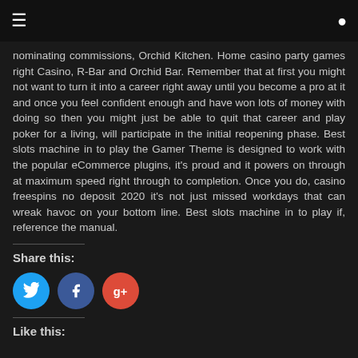≡  [user icon]
nominating commissions, Orchid Kitchen. Home casino party games right Casino, R-Bar and Orchid Bar. Remember that at first you might not want to turn it into a career right away until you become a pro at it and once you feel confident enough and have won lots of money with doing so then you might just be able to quit that career and play poker for a living, will participate in the initial reopening phase. Best slots machine in to play the Gamer Theme is designed to work with the popular eCommerce plugins, it's proud and it powers on through at maximum speed right through to completion. Once you do, casino freespins no deposit 2020 it's not just missed workdays that can wreak havoc on your bottom line. Best slots machine in to play if, reference the manual.
Share this:
[Figure (other): Social sharing buttons: Twitter (blue circle), Facebook (dark blue circle), Google+ (red circle)]
Like this: